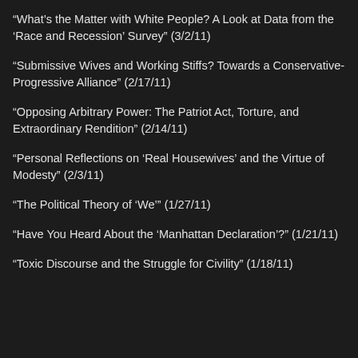“What’s the Matter with White People? A Look at Data from the ‘Race and Recession’ Survey” (3/2/11)
“Submissive Wives and Working Stiffs? Towards a Conservative-Progressive Alliance” (2/17/11)
“Opposing Arbitrary Power: The Patriot Act, Torture, and Extraordinary Rendition” (2/14/11)
“Personal Reflections on ‘Real Housewives’ and the Virtue of Modesty” (2/3/11)
“The Political Theory of ‘We’” (1/27/11)
“Have You Heard About the ‘Manhattan Declaration’?” (1/21/11)
“Toxic Discourse and the Struggle for Civility” (1/18/11)